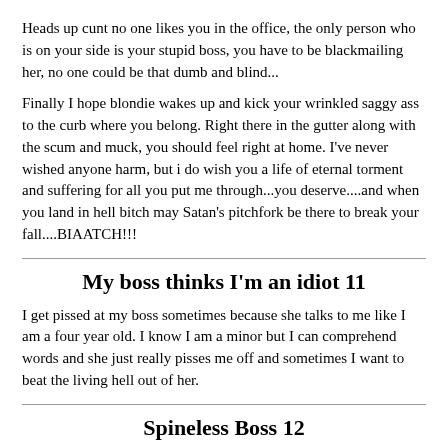Heads up cunt no one likes you in the office, the only person who is on your side is your stupid boss, you have to be blackmailing her, no one could be that dumb and blind...
Finally I hope blondie wakes up and kick your wrinkled saggy ass to the curb where you belong. Right there in the gutter along with the scum and muck, you should feel right at home. I've never wished anyone harm, but i do wish you a life of eternal torment and suffering for all you put me through...you deserve....and when you land in hell bitch may Satan's pitchfork be there to break your fall....BIAATCH!!!
My boss thinks I'm an idiot 11
I get pissed at my boss sometimes because she talks to me like I am a four year old. I know I am a minor but I can comprehend words and she just really pisses me off and sometimes I want to beat the living hell out of her.
Spineless Boss 12